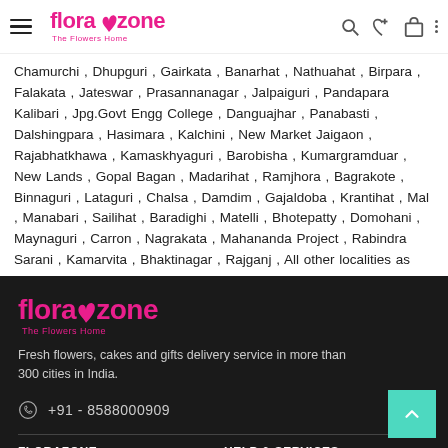florazone - The Flowers Home
Chamurchi , Dhupguri , Gairkata , Banarhat , Nathudhat , Birpara , Falakata , Jateswar , Prasannanagar , Jalpaiguri , Pandapara Kalibari , Jpg.Govt Engg College , Danguajhar , Panabasti , Dalshingpara , Hasimara , Kalchini , New Market Jaigaon , Rajabhatkhawa , Kamaskhyaguri , Barobisha , Kumargramduar , New Lands , Gopal Bagan , Madarihat , Ramjhora , Bagrakote , Binnaguri , Lataguri , Chalsa , Damdim , Gajaldoba , Krantihat , Mal , Manabari , Sailihat , Baradighi , Matelli , Bhotepatty , Domohani , Maynaguri , Carron , Nagrakata , Mahananda Project , Rabindra Sarani , Kamarvita , Bhaktinagar , Rajganj , All other localities as well.
[Figure (logo): florazone - The Flowers Home logo in pink on dark background]
Fresh flowers, cakes and gifts delivery service in more than 300 cities in India.
+91 - 8588000909
FLORAZONE
HELP & SERVICES